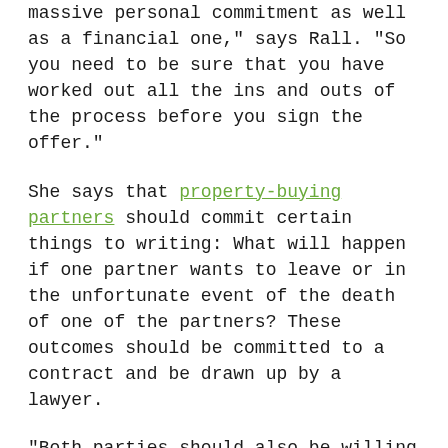massive personal commitment as well as a financial one," says Rall. "So you need to be sure that you have worked out all the ins and outs of the process before you sign the offer."
She says that property-buying partners should commit certain things to writing: What will happen if one partner wants to leave or in the unfortunate event of the death of one of the partners? These outcomes should be committed to a contract and be drawn up by a lawyer.
"Both parties should also be willing to disclose any financial issues that might affect the partnership, as they will both be independently assessed by the bank as individual buyers," says Rall.
Once the property has been purchased, she advises that the partners ensure that the costs of maintaining the property are equally shared, or at least that they are carefully recorded, so that the proceeds can be